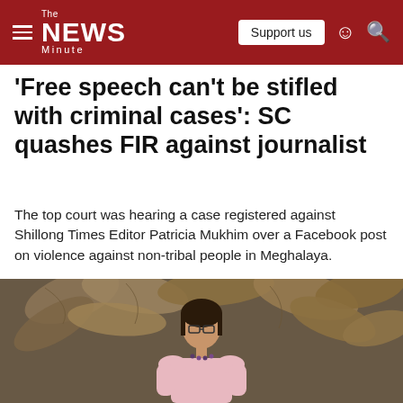The News Minute — Support us
'Free speech can't be stifled with criminal cases': SC quashes FIR against journalist
The top court was hearing a case registered against Shillong Times Editor Patricia Mukhim over a Facebook post on violence against non-tribal people in Meghalaya.
[Figure (photo): A woman (Patricia Mukhim) with glasses and a beaded necklace wearing a pink outfit, seated in front of a backdrop of dried leaves and foliage.]